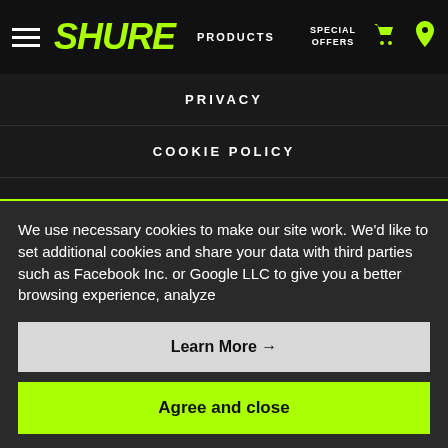SHURE | PRODUCTS | SPECIAL OFFERS
PRIVACY
COOKIE POLICY
CHANGE COOKIE PREFERENCES
CANDIDATE PRIVACY POLICY
We use necessary cookies to make our site work. We'd like to set additional cookies and share your data with third parties such as Facebook Inc. or Google LLC to give you a better browsing experience, analyze
Learn More →
Agree and close